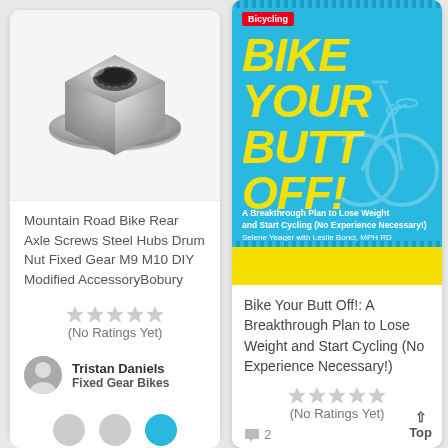[Figure (photo): Silver/chrome hex flange nut (Mountain bike rear axle screw) on white background]
Mountain Road Bike Rear Axle Screws Steel Hubs Drum Nut Fixed Gear M9 M10 DIY Modified AccessoryBobury
(No Ratings Yet)
Tristan Daniels
Fixed Gear Bikes
[Figure (photo): Book cover: Bike Your Butt Off! – cyan/blue cover with large yellow italic title text, Bicycling magazine logo, subtitle and authors at bottom]
Bike Your Butt Off!: A Breakthrough Plan to Lose Weight and Start Cycling (No Experience Necessary!)
(No Ratings Yet)
💬 2
Top